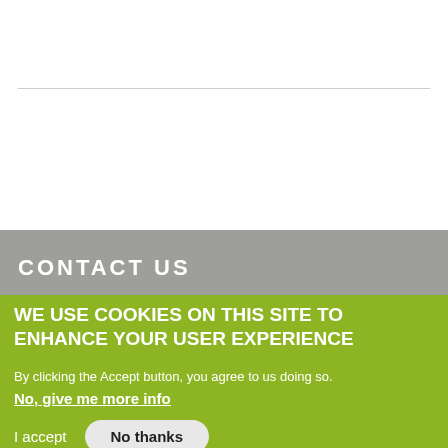CONTACT US
WE USE COOKIES ON THIS SITE TO ENHANCE YOUR USER EXPERIENCE
By clicking the Accept button, you agree to us doing so.
No, give me more info
I accept
No thanks